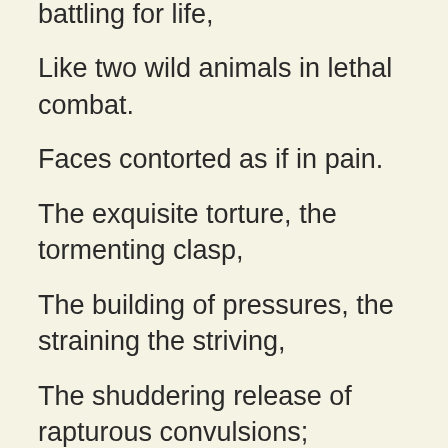battling for life,
Like two wild animals in lethal combat.
Faces contorted as if in pain.
The exquisite torture, the tormenting clasp,
The building of pressures, the straining the striving,
The shuddering release of rapturous convulsions;
The uncoiling of tension, the languorous stupor,
A bounty greater than this can